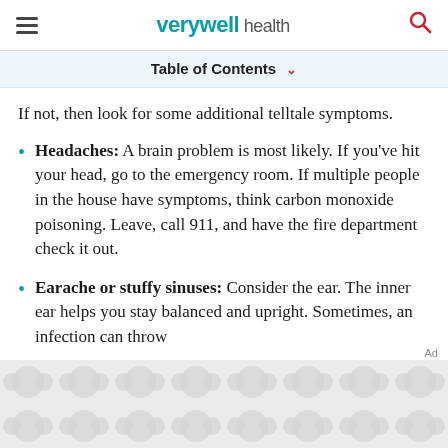verywell health
Table of Contents
If not, then look for some additional telltale symptoms.
Headaches: A brain problem is most likely. If you've hit your head, go to the emergency room. If multiple people in the house have symptoms, think carbon monoxide poisoning. Leave, call 911, and have the fire department check it out.
Earache or stuffy sinuses: Consider the ear. The inner ear helps you stay balanced and upright. Sometimes, an infection can throw
[Figure (other): Advertisement banner with gray circular pattern]